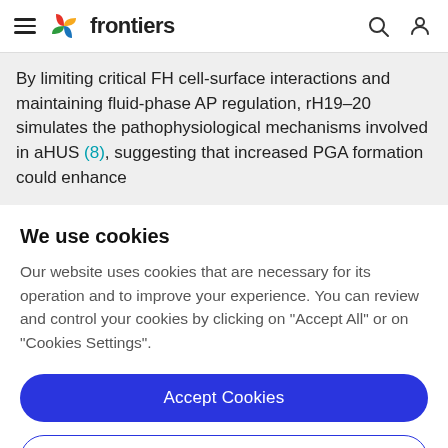frontiers
By limiting critical FH cell-surface interactions and maintaining fluid-phase AP regulation, rH19–20 simulates the pathophysiological mechanisms involved in aHUS (8), suggesting that increased PGA formation could enhance
We use cookies
Our website uses cookies that are necessary for its operation and to improve your experience. You can review and control your cookies by clicking on "Accept All" or on "Cookies Settings".
Accept Cookies
Cookies Settings